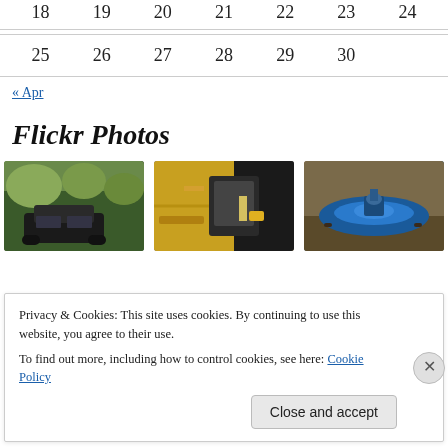| 18 | 19 | 20 | 21 | 22 | 23 | 24 |
| --- | --- | --- | --- | --- | --- | --- |
| 25 | 26 | 27 | 28 | 29 | 30 |  |
| --- | --- | --- | --- | --- | --- | --- |
« Apr
Flickr Photos
[Figure (photo): Three outdoor photos: a car near trees with autumn foliage, a yellow vehicle close-up, and a blue kayak on ground]
Privacy & Cookies: This site uses cookies. By continuing to use this website, you agree to their use.
To find out more, including how to control cookies, see here: Cookie Policy
Close and accept